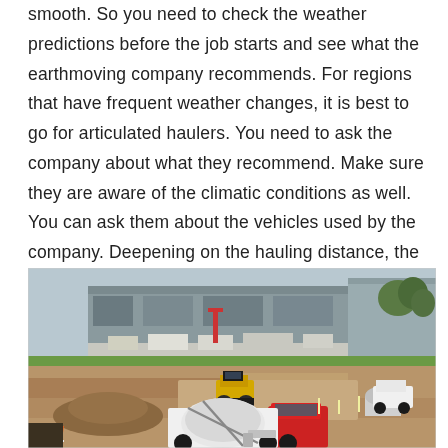smooth. So you need to check the weather predictions before the job starts and see what the earthmoving company recommends. For regions that have frequent weather changes, it is best to go for articulated haulers. You need to ask the company about what they recommend. Make sure they are aware of the climatic conditions as well. You can ask them about the vehicles used by the company. Deepening on the hauling distance, the vehicles used will be different.
[Figure (photo): Aerial view of a large construction/earthmoving site showing heavy equipment including a yellow bulldozer/excavator in the middle ground, a red and white cement mixer truck in the foreground, piles of dirt and gravel, and an industrial building with vehicles in the background.]